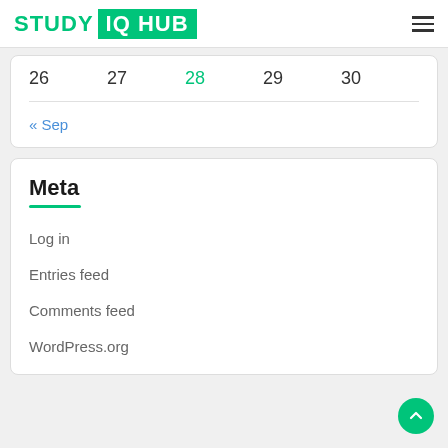STUDY IQ HUB
| 26 | 27 | 28 | 29 | 30 |
« Sep
Meta
Log in
Entries feed
Comments feed
WordPress.org